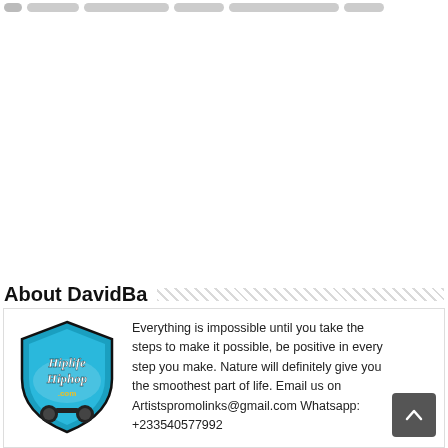navigation bar with pills
About DavidBa
[Figure (logo): Hiplife Hiphop .com shield logo in teal and black]
Everything is impossible until you take the steps to make it possible, be positive in every step you make. Nature will definitely give you the smoothest part of life. Email us on Artistspromolinks@gmail.com Whatsapp: +233540577992